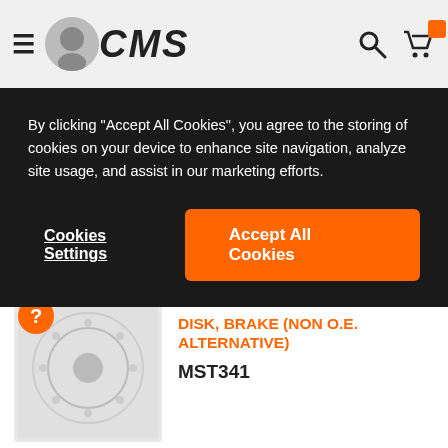CMS
By clicking "Accept All Cookies", you agree to the storing of cookies on your device to enhance site navigation, analyze site usage, and assist in our marketing efforts.
Cookies Settings
Accept All Cookies
5155136E101KY
★5 📈6.2
€ 43.00
(USD 42.90 ,incl. 0% VAT)
fits to: Suzuki
DISK, BRAKE (NON O.E. ALTERNATIVE)
MST341